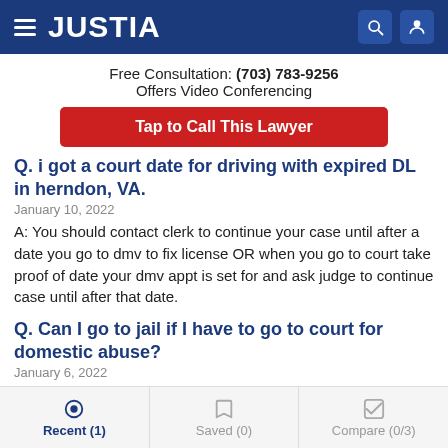JUSTIA
Free Consultation: (703) 783-9256
Offers Video Conferencing
Tap to Call This Lawyer
Q. i got a court date for driving with expired DL in herndon, VA.
January 10, 2022
A: You should contact clerk to continue your case until after a date you go to dmv to fix license OR when you go to court take proof of date your dmv appt is set for and ask judge to continue case until after that date.
Q. Can I go to jail if I have to go to court for domestic abuse?
January 6, 2022
Recent (1)   Saved (0)   Compare (0/3)